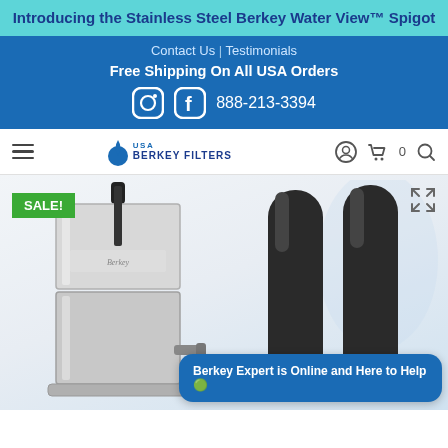Introducing the Stainless Steel Berkey Water View™ Spigot
Contact Us | Testimonials
Free Shipping On All USA Orders
888-213-3394
[Figure (screenshot): USA Berkey Filters logo with water drop icon]
[Figure (photo): Berkey stainless steel water filter unit on left with SALE badge, and two black filter rods on right against light blue background. Chat overlay: Berkey Expert is Online and Here to Help]